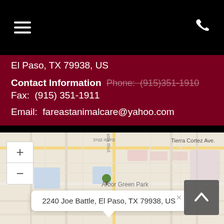El Paso, TX 79938, US
Contact Information  Phone: (915)351-1910
Fax: (915) 351-1911
Email: fareastanimalcare@yahoo.com
[Figure (map): Street map showing the area around 2240 Joe Battle, El Paso, TX 79938, US. The map includes streets, blocks, Arbor Green Park, and Tierra Cortez Ave. A popup tooltip shows the address '2240 Joe Battle, El Paso, TX 79938, US'. Zoom in/out controls are visible on the upper left.]